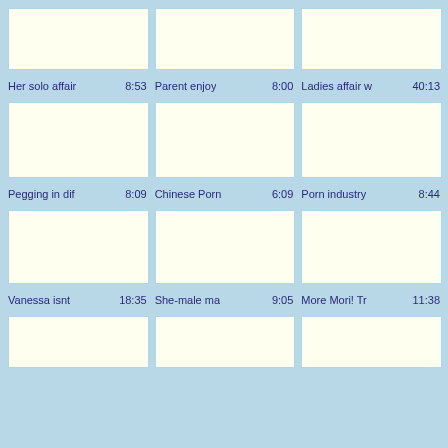[Figure (other): Thumbnail image placeholder - cream/ivory colored box]
Her solo affair  8:53
[Figure (other): Thumbnail image placeholder - cream/ivory colored box]
Parent enjoy  8:00
[Figure (other): Thumbnail image placeholder - cream/ivory colored box]
Ladies affair w  40:13
[Figure (other): Thumbnail image placeholder - cream/ivory colored box]
Pegging in dif  8:09
[Figure (other): Thumbnail image placeholder - cream/ivory colored box]
Chinese Porn  6:09
[Figure (other): Thumbnail image placeholder - cream/ivory colored box]
Porn industry  8:44
[Figure (other): Thumbnail image placeholder - cream/ivory colored box]
Vanessa isnt   18:35
[Figure (other): Thumbnail image placeholder - cream/ivory colored box]
She-male ma  9:05
[Figure (other): Thumbnail image placeholder - cream/ivory colored box]
More Mori! Tr  11:38
[Figure (other): Thumbnail image placeholder - cream/ivory colored box (partial)]
[Figure (other): Thumbnail image placeholder - cream/ivory colored box (partial)]
[Figure (other): Thumbnail image placeholder - cream/ivory colored box (partial)]